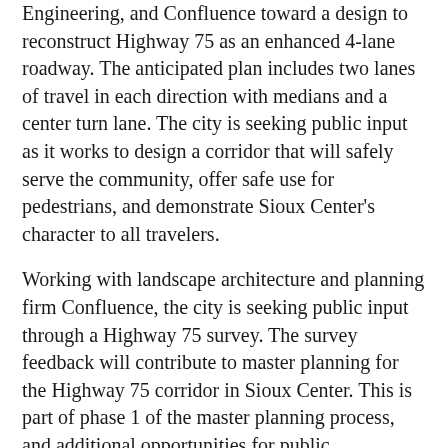Engineering, and Confluence toward a design to reconstruct Highway 75 as an enhanced 4-lane roadway. The anticipated plan includes two lanes of travel in each direction with medians and a center turn lane. The city is seeking public input as it works to design a corridor that will safely serve the community, offer safe use for pedestrians, and demonstrate Sioux Center's character to all travelers.
Working with landscape architecture and planning firm Confluence, the city is seeking public input through a Highway 75 survey. The survey feedback will contribute to master planning for the Highway 75 corridor in Sioux Center. This is part of phase 1 of the master planning process, and additional opportunities for public information and response are anticipated.
The survey is being delivered to homes with monthly utility bills and is available online. The English online survey is at www.siouxcenter.org/75survey. The Spanish online survey is at www.siouxcenter.org/encuesta75. Residents are asked to complete and return the survey by May 25 to be included in the planning process.